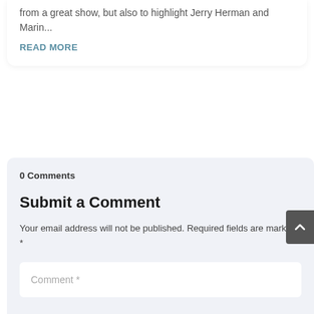from a great show, but also to highlight Jerry Herman and Marin...
READ MORE
0 Comments
Submit a Comment
Your email address will not be published. Required fields are marked *
Comment *